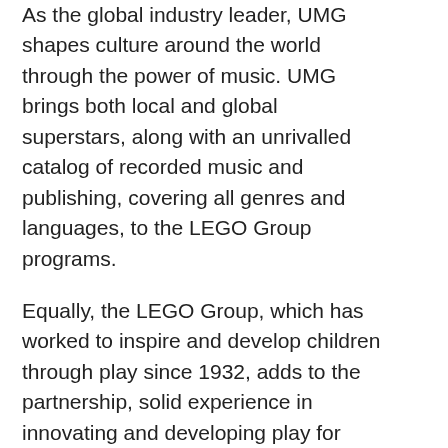As the global industry leader, UMG shapes culture around the world through the power of music. UMG brings both local and global superstars, along with an unrivalled catalog of recorded music and publishing, covering all genres and languages, to the LEGO Group programs.
Equally, the LEGO Group, which has worked to inspire and develop children through play since 1932, adds to the partnership, solid experience in innovating and developing play for children and their families around the world, generation after generation.
Combining music and the LEGO System in Play, this collaboration will deliver exciting opportunities for children to connect and creatively express themselves, and their love of music. Harnessing immersive, interactive play and safe social experiences, the partnership aims to inspire and support creative development.